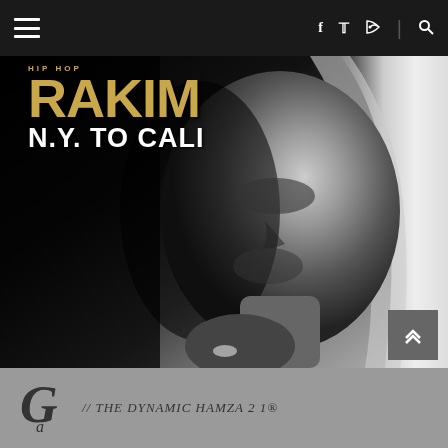Navigation bar with hamburger menu, social icons (f, twitter, RSS) and search
[Figure (photo): Album cover for Rakim 'N.Y. To Cali' - black and white portrait photo of Rakim in contemplative pose with gold and white text overlay showing 'HIP HOP', 'RAKIM', 'N.Y. TO CALI']
// THE DYNAMIC HAMZA 2 1®